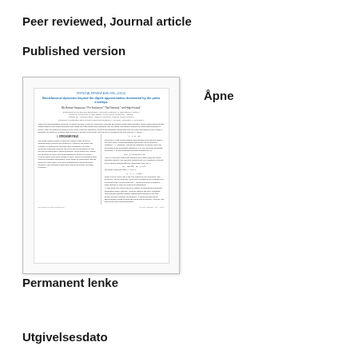Peer reviewed, Journal article
Published version
[Figure (other): Thumbnail preview of a scientific journal article page showing title, authors, abstract, and two-column body text with equations]
Åpne
PDF (789.0Kb)
Permanent lenke
https://hdl.handle.net/1956/12746
Utgivelsesdato